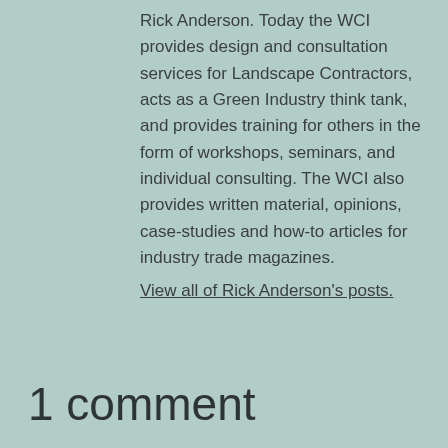Rick Anderson. Today the WCI provides design and consultation services for Landscape Contractors, acts as a Green Industry think tank, and provides training for others in the form of workshops, seminars, and individual consulting. The WCI also provides written material, opinions, case-studies and how-to articles for industry trade magazines.
View all of Rick Anderson's posts.
1 comment